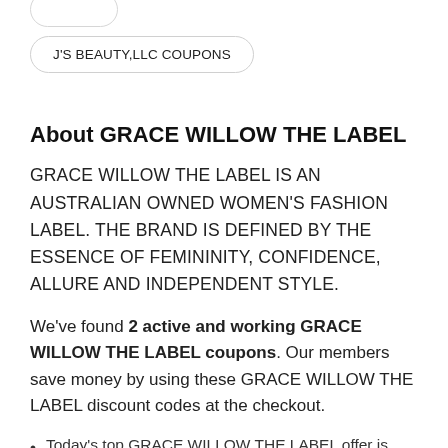J'S BEAUTY,LLC COUPONS
About GRACE WILLOW THE LABEL
GRACE WILLOW THE LABEL IS AN AUSTRALIAN OWNED WOMEN'S FASHION LABEL. THE BRAND IS DEFINED BY THE ESSENCE OF FEMININITY, CONFIDENCE, ALLURE AND INDEPENDENT STYLE.
We've found 2 active and working GRACE WILLOW THE LABEL coupons. Our members save money by using these GRACE WILLOW THE LABEL discount codes at the checkout.
Today's top GRACE WILLOW THE LABEL offer is